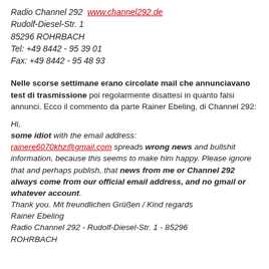Radio Channel 292  www.channel292.de
Rudolf-Diesel-Str. 1
85296 ROHRBACH
Tel: +49 8442 - 95 39 01
Fax: +49 8442 - 95 48 93
Nelle scorse settimane erano circolate mail che annunciavano test di trasmissione poi regolarmente disattesi in quanto falsi annunci. Ecco il commento da parte Rainer Ebeling, di Channel 292:
Hi,
some idiot with the email address:
rainere6070khz@gmail.com spreads wrong news and bullshit information, because this seems to make him happy. Please ignore that and perhaps publish, that news from me or Channel 292 always come from our official email address, and no gmail or whatever account.
Thank you. Mit freundlichen Grüßen / Kind regards
Rainer Ebeling
Radio Channel 292 - Rudolf-Diesel-Str. 1 - 85296 ROHRBACH